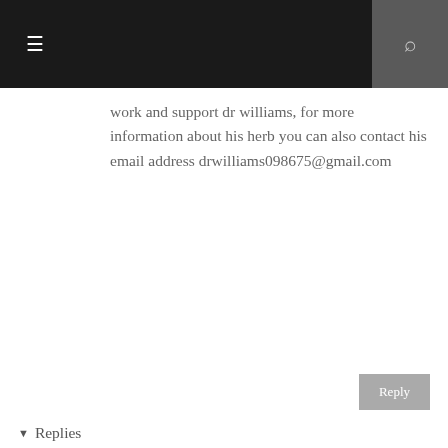≡  🔍
work and support dr williams, for more information about his herb you can also contact his email address drwilliams098675@gmail.com
Reply
▾ Replies
LAURA MILDRED
August 12, 2020 at 8:16 AM
Am Laura Mildred by name, i was diagnosed with Herpes 4 years ago i lived in pain with the knowledge that i wasn't